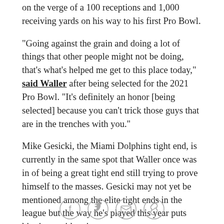on the verge of a 100 receptions and 1,000 receiving yards on his way to his first Pro Bowl.
"Going against the grain and doing a lot of things that other people might not be doing, that's what's helped me get to this place today," said Waller after being selected for the 2021 Pro Bowl. "It's definitely an honor [being selected] because you can't trick those guys that are in the trenches with you."
Mike Gesicki, the Miami Dolphins tight end, is currently in the same spot that Waller once was in of being a great tight end still trying to prove himself to the masses. Gesicki may not yet be mentioned among the elite tight ends in the league but the way he's played this year puts him in consideration.
The third-year player out of Penn State has played the
[Figure (other): Social media share icons: Facebook, Twitter, email, and link/copy icon in circular outlines]